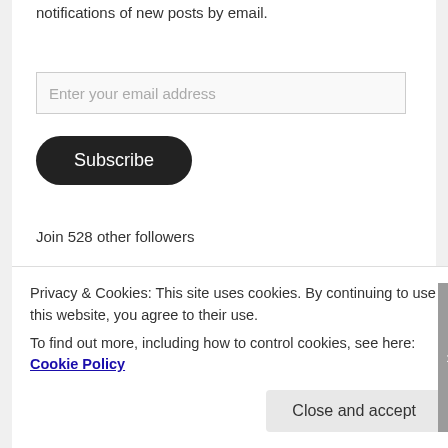notifications of new posts by email.
Enter your email address
Subscribe
Join 528 other followers
ARCHIVES
Select Month
THANK YOU FOR DROPPING BY :)
8,524 hits
Privacy & Cookies: This site uses cookies. By continuing to use this website, you agree to their use.
To find out more, including how to control cookies, see here: Cookie Policy
Close and accept